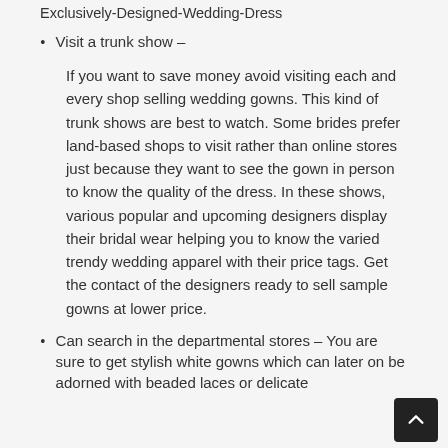Exclusively-Designed-Wedding-Dress
Visit a trunk show –
If you want to save money avoid visiting each and every shop selling wedding gowns. This kind of trunk shows are best to watch. Some brides prefer land-based shops to visit rather than online stores just because they want to see the gown in person to know the quality of the dress. In these shows, various popular and upcoming designers display their bridal wear helping you to know the varied trendy wedding apparel with their price tags. Get the contact of the designers ready to sell sample gowns at lower price.
Can search in the departmental stores – You are sure to get stylish white gowns which can later on be adorned with beaded laces or delicate